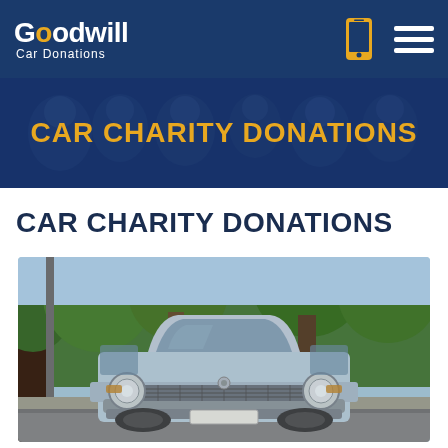Goodwill Car Donations
CAR CHARITY DONATIONS
CAR CHARITY DONATIONS
[Figure (photo): Front view of a vintage light blue/silver car parked on a street with trees in the background]